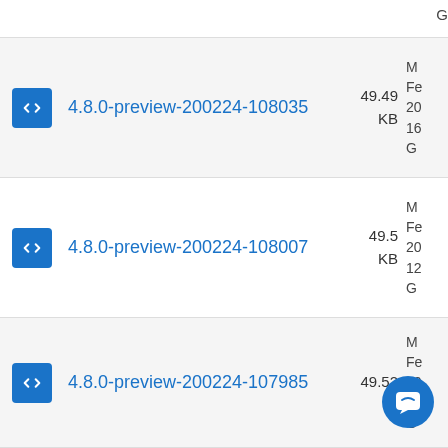G (partial top)
4.8.0-preview-200224-108035
4.8.0-preview-200224-108007
4.8.0-preview-200224-107985